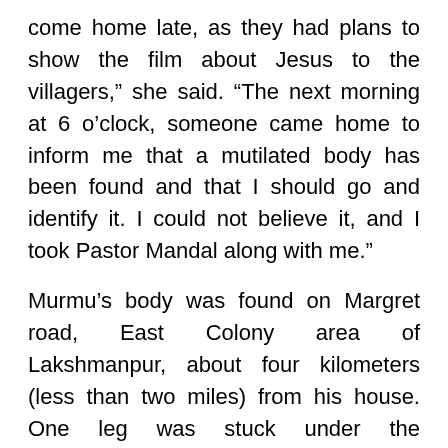come home late, as they had plans to show the film about Jesus to the villagers," she said. "The next morning at 6 o'clock, someone came home to inform me that a mutilated body has been found and that I should go and identify it. I could not believe it, and I took Pastor Mandal along with me."
Murmu's body was found on Margret road, East Colony area of Lakshmanpur, about four kilometers (less than two miles) from his house. One leg was stuck under the motorcycle.
“He was killed ruthlessly,” said Pastor Mandal.
Shekhar Kumar, who was one of the seven team members showing the film that day, told Compass that they had publicized the film for nearly 10 days and had also invited